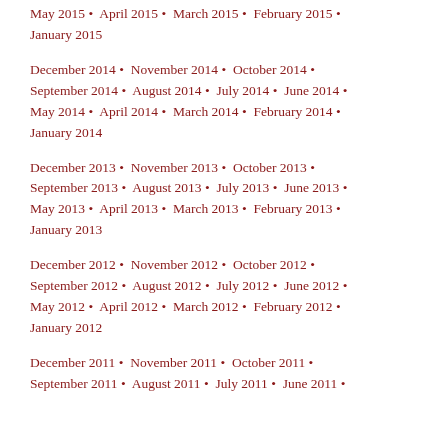May 2015 • April 2015 • March 2015 • February 2015 • January 2015
December 2014 • November 2014 • October 2014 • September 2014 • August 2014 • July 2014 • June 2014 • May 2014 • April 2014 • March 2014 • February 2014 • January 2014
December 2013 • November 2013 • October 2013 • September 2013 • August 2013 • July 2013 • June 2013 • May 2013 • April 2013 • March 2013 • February 2013 • January 2013
December 2012 • November 2012 • October 2012 • September 2012 • August 2012 • July 2012 • June 2012 • May 2012 • April 2012 • March 2012 • February 2012 • January 2012
December 2011 • November 2011 • October 2011 • September 2011 • August 2011 • July 2011 • June 2011